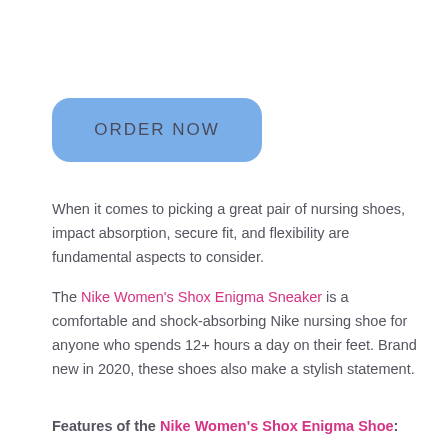[Figure (other): Blue rounded rectangle button with text ORDER NOW]
When it comes to picking a great pair of nursing shoes, impact absorption, secure fit, and flexibility are fundamental aspects to consider.
The Nike Women's Shox Enigma Sneaker is a comfortable and shock-absorbing Nike nursing shoe for anyone who spends 12+ hours a day on their feet. Brand new in 2020, these shoes also make a stylish statement.
Features of the Nike Women's Shox Enigma Shoe:
Synthetic and mesh...